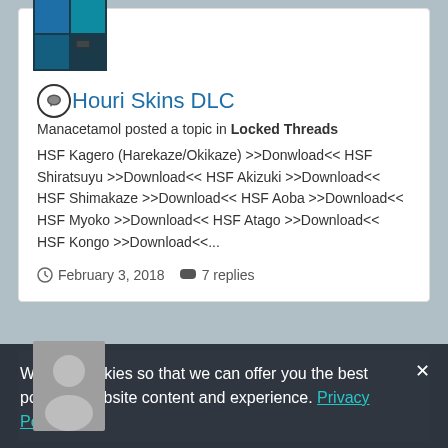[Figure (screenshot): Game thumbnail image - blue/teal colored grid squares]
Houri Skins DLC
Manacetamol posted a topic in Locked Threads
HSF Kagero (Harekaze/Okikaze) >>Donwload<< HSF Shiratsuyu >>Download<< HSF Akizuki >>Download<< HSF Shimakaze >>Download<< HSF Aoba >>Download<< HSF Myoko >>Download<< HSF Atago >>Download<< HSF Kongo >>Download<<...
February 3, 2018   7 replies
[Figure (photo): Default user avatar - gray silhouette of a person]
We use cookies so that we can offer you the best possible website content and experience. Privacy Policy